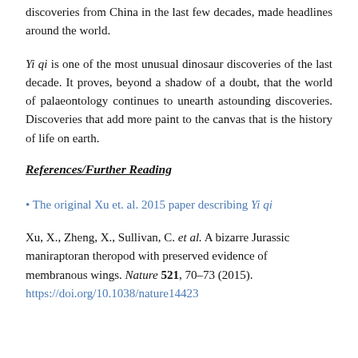discoveries from China in the last few decades, made headlines around the world.
Yi qi is one of the most unusual dinosaur discoveries of the last decade. It proves, beyond a shadow of a doubt, that the world of palaeontology continues to unearth astounding discoveries. Discoveries that add more paint to the canvas that is the history of life on earth.
References/Further Reading
The original Xu et. al. 2015 paper describing Yi qi
Xu, X., Zheng, X., Sullivan, C. et al. A bizarre Jurassic maniraptoran theropod with preserved evidence of membranous wings. Nature 521, 70–73 (2015). https://doi.org/10.1038/nature14423